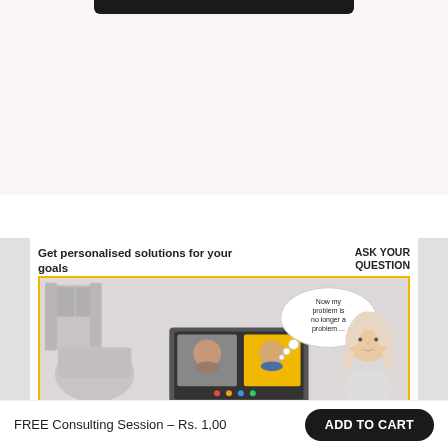[Figure (screenshot): Top section showing a dark rounded bar at the top on a light pinkish background area]
[Figure (illustration): Illustration showing a woman thinking 'Now my problem is no longer a problem ...' while looking at a video call on a desktop monitor. The image is enclosed in a yellow/gold border. Header text reads 'Get personalised solutions for your goals' and 'ASK YOUR QUESTION' on the right.]
FREE Consulting Session - Rs. 1,00
ADD TO CART